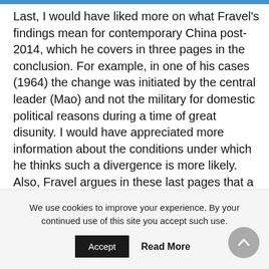Last, I would have liked more on what Fravel's findings mean for contemporary China post-2014, which he covers in three pages in the conclusion. For example, in one of his cases (1964) the change was initiated by the central leader (Mao) and not the military for domestic political reasons during a time of great disunity. I would have appreciated more information about the conditions under which he thinks such a divergence is more likely. Also, Fravel argues in these last pages that a major change in military strategy could be precipitated in the future by a
We use cookies to improve your experience. By your continued use of this site you accept such use.